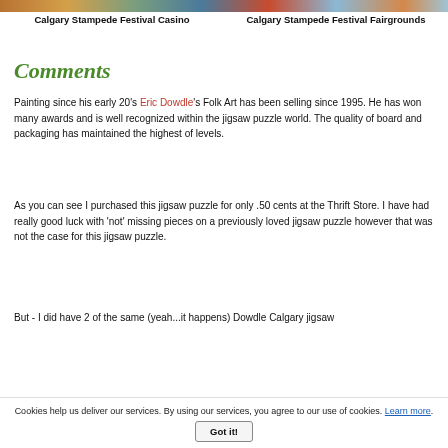[Figure (photo): Horizontal strip of thumbnail images at the top of the page showing Calgary Stampede scenes]
Calgary Stampede Festival Casino
Calgary Stampede Festival Fairgrounds
Comments
Painting since his early 20's Eric Dowdle's Folk Art has been selling since 1995. He has won many awards and is well recognized within the jigsaw puzzle world. The quality of board and packaging has maintained the highest of levels.
As you can see I purchased this jigsaw puzzle for only .50 cents at the Thrift Store. I have had really good luck with 'not' missing pieces on a previously loved jigsaw puzzle however that was not the case for this jigsaw puzzle.
But - I did have 2 of the same (yeah...it happens) Dowdle Calgary jigsaw
Cookies help us deliver our services. By using our services, you agree to our use of cookies. Learn more. Got it!